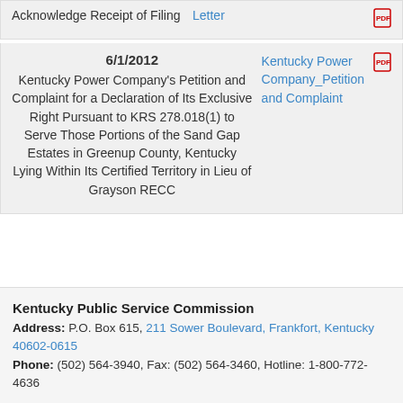| Date | Description | Link |  |
| --- | --- | --- | --- |
|  | Acknowledge Receipt of Filing | Letter | PDF |
| 6/1/2012 | Kentucky Power Company's Petition and Complaint for a Declaration of Its Exclusive Right Pursuant to KRS 278.018(1) to Serve Those Portions of the Sand Gap Estates in Greenup County, Kentucky Lying Within Its Certified Territory in Lieu of Grayson RECC | Kentucky Power Company_Petition and Complaint | PDF |
Kentucky Public Service Commission
Address: P.O. Box 615, 211 Sower Boulevard, Frankfort, Kentucky 40602-0615
Phone: (502) 564-3940, Fax: (502) 564-3460, Hotline: 1-800-772-4636